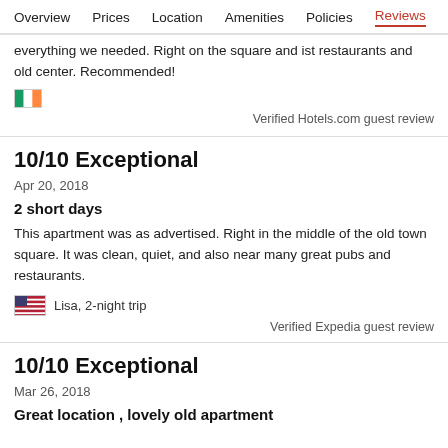Overview  Prices  Location  Amenities  Policies  Reviews
everything we needed. Right on the square and ist restaurants and old center. Recommended!
Verified Hotels.com guest review
10/10 Exceptional
Apr 20, 2018
2 short days
This apartment was as advertised. Right in the middle of the old town square. It was clean, quiet, and also near many great pubs and restaurants.
Lisa, 2-night trip
Verified Expedia guest review
10/10 Exceptional
Mar 26, 2018
Great location , lovely old apartment